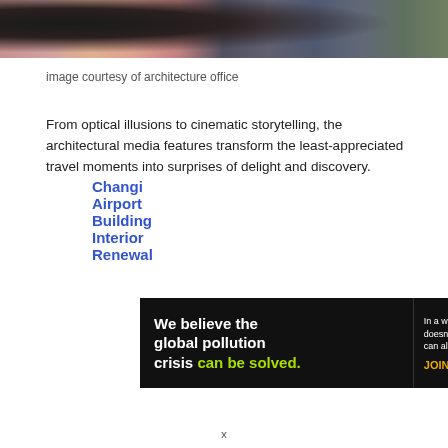[Figure (photo): Partial photo strip at top of page showing people in an interior space, cropped view]
image courtesy of architecture office
Changi Airport Building Interior Renewal
From optical illusions to cinematic storytelling, the architectural media features transform the least-appreciated travel moments into surprises of delight and discovery.
[Figure (infographic): Pure Earth advertisement banner: black background left side reading 'We believe the global pollution crisis can be solved.' with green highlight on 'can be solved.' Middle section reads 'In a world where pollution doesn't stop at borders, we can all be part of the solution. JOIN US.' Right side shows Pure Earth logo diamond shape in orange/gold/green with text PURE EARTH in bold black.]
x